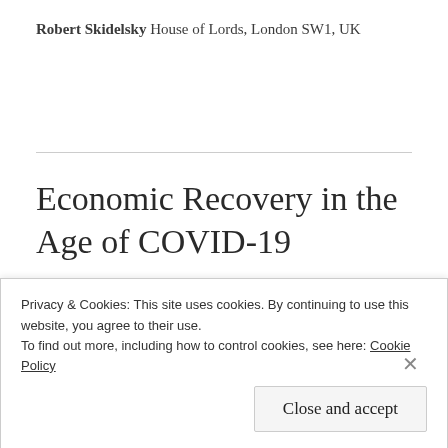Robert Skidelsky House of Lords, London SW1, UK
Economic Recovery in the Age of COVID-19
FEATURED
The COVID-19 pandemic is an invitation to what
Privacy & Cookies: This site uses cookies. By continuing to use this website, you agree to their use.
To find out more, including how to control cookies, see here: Cookie Policy
Close and accept